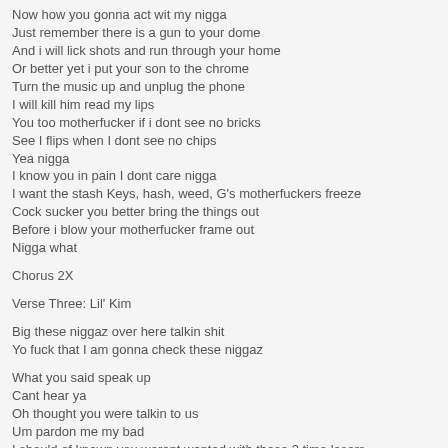Now how you gonna act wit my nigga
Just remember there is a gun to your dome
And i will lick shots and run through your home
Or better yet i put your son to the chrome
Turn the music up and unplug the phone
I will kill him read my lips
You too motherfucker if i dont see no bricks
See I flips when I dont see no chips
Yea nigga
I know you in pain I dont care nigga
I want the stash Keys, hash, weed, G's motherfuckers freeze
Cock sucker you better bring the things out
Before i blow your motherfucker frame out
Nigga what
Chorus 2X
Verse Three: Lil' Kim
Big these niggaz over here talkin shit
Yo fuck that I am gonna check these niggaz
What you said speak up
Cant hear ya
Oh thought you were talkin to us
Um pardon me my bad
I should of known you werent wanted with these 3 time losers
The open surgery hearth removers
Niggaz think they gonna stop my ones
Put a contract out and stop ya lungs